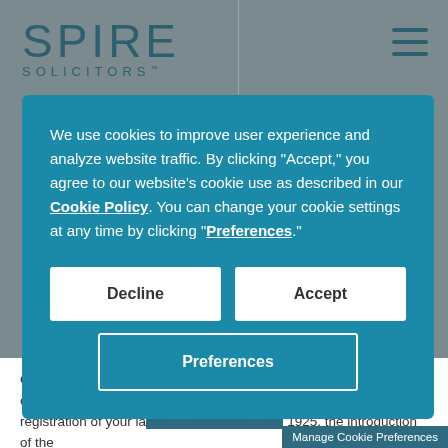[Figure (logo): Spire Solicitors logo with stylized text in teal/dark blue]
We use cookies to improve user experience and analyze website traffic. By clicking "Accept," you agree to our website's cookie use as described in our Cookie Policy. You can change your cookie settings at any time by clicking "Preferences."
Decline
Accept
Preferences
Our specialist Residential Conveyancing solicitors have an outstanding reputation and are on hand to assist with voluntary first registration of your la... 1925, the introduction of the
Manage Cookie Preferences